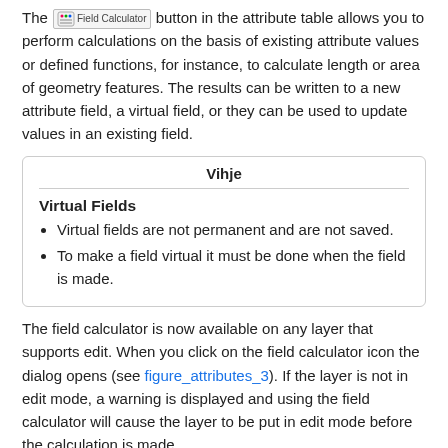The Field Calculator button in the attribute table allows you to perform calculations on the basis of existing attribute values or defined functions, for instance, to calculate length or area of geometry features. The results can be written to a new attribute field, a virtual field, or they can be used to update values in an existing field.
Vihje
Virtual Fields
Virtual fields are not permanent and are not saved.
To make a field virtual it must be done when the field is made.
The field calculator is now available on any layer that supports edit. When you click on the field calculator icon the dialog opens (see figure_attributes_3). If the layer is not in edit mode, a warning is displayed and using the field calculator will cause the layer to be put in edit mode before the calculation is made.
The quick field calculation bar in top of the attribute table is only